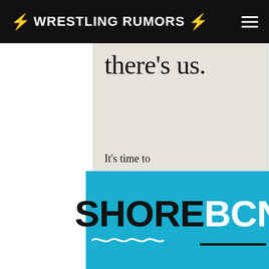WRESTLING RUMORS
[Figure (illustration): Advertisement card with cream/beige background showing large serif text 'there’s us.' and smaller text 'It’s time to' at the bottom]
[Figure (logo): SHORE BCN logo on a blue background with wave decoration under SHORE and underline under BCN]